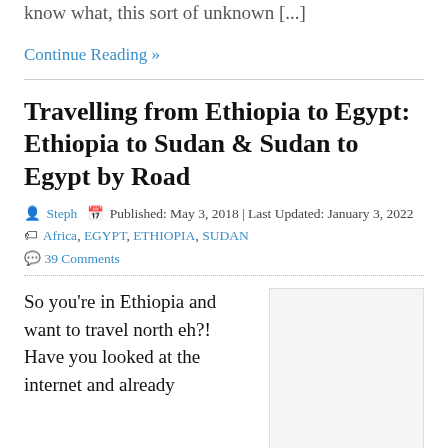know what, this sort of unknown [...]
Continue Reading »
Travelling from Ethiopia to Egypt: Ethiopia to Sudan & Sudan to Egypt by Road
Steph  Published: May 3, 2018 | Last Updated: January 3, 2022  Africa, EGYPT, ETHIOPIA, SUDAN
39 Comments
So you're in Ethiopia and want to travel north eh?! Have you looked at the internet and already
[Figure (photo): Placeholder image block for article thumbnail]